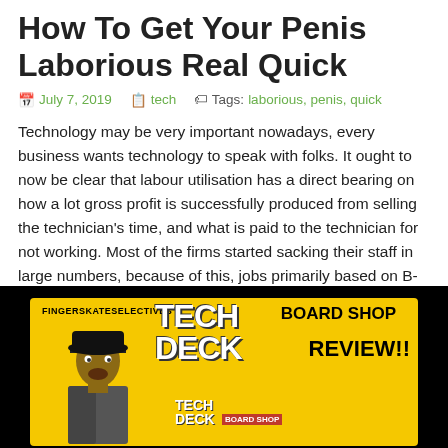How To Get Your Penis Laborious Real Quick
July 7, 2019   tech   Tags: laborious, penis, quick
Technology may be very important nowadays, every business wants technology to speak with folks. It ought to now be clear that labour utilisation has a direct bearing on how a lot gross profit is successfully produced from selling the technician's time, and what is paid to the technician for not working. Most of the firms started sacking their staff in large numbers, because of this, jobs primarily based on B-tech began fading, and such incidents affected the scholars strategy towards pursuing B-tech.
[Figure (photo): YouTube thumbnail for 'Fingerskateselectives Tech Deck Board Shop Review!!' showing a man in a cap with Tech Deck logo on a yellow background]